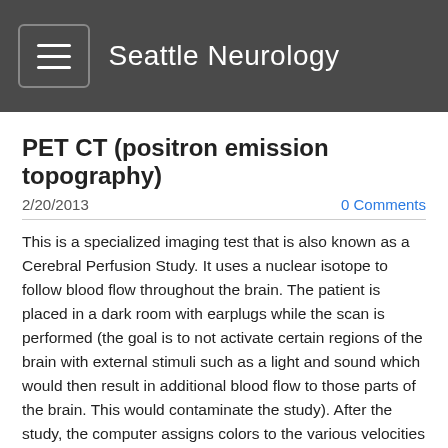Seattle Neurology
PET CT (positron emission topography)
2/20/2013
0 Comments
This is a specialized imaging test that is also known as a Cerebral Perfusion Study.  It uses a nuclear isotope to follow blood flow throughout the brain.  The patient is placed in a dark room with earplugs while the scan is performed (the goal is to not activate certain regions of the brain with external stimuli such as a light and sound which would then result in additional blood flow to those parts of the brain.  This would contaminate the study).  After the study, the computer assigns colors to the various velocities of blood flow: fast – red, medium – yellow, slow – green, no flow – blue.  If there are no neurons in a certain region of brain then there will be little to no blood flow.  Physicians can indirectly draw conclusions about the presence of an underlying destructive process in the brain when there's a region of focal absence of blood flow.  For example after a large stroke affecting the right frontal lobe, the PET CT would be expected to